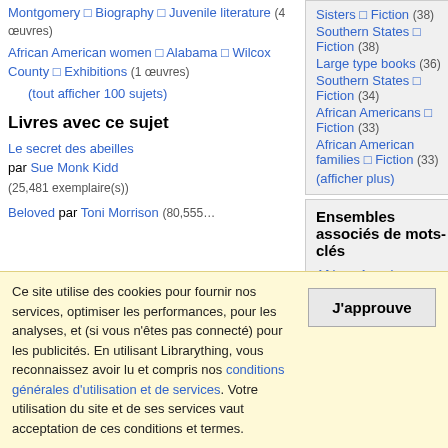Montgomery □ Biography □ Juvenile literature (4 œuvres)
African American women □ Alabama □ Wilcox County □ Exhibitions (1 œuvres)
(tout afficher 100 sujets)
Livres avec ce sujet
Le secret des abeilles par Sue Monk Kidd (25,481 exemplaire(s))
Beloved par Toni Morrison (80,555…)
Sisters □ Fiction (38)
Southern States □ Fiction (38)
Large type books (36)
Southern States □ Fiction (34)
African Americans □ Fiction (33)
African American families □ Fiction (33)
(afficher plus)
Ensembles associés de mots-clés
African American, women (71)
African American, fiction (67)
African American, feminism (67)
20th century, African American, women (66)
race, women's studies (48)
racism, women (47)
African American, southern, women (44)
Ce site utilise des cookies pour fournir nos services, optimiser les performances, pour les analyses, et (si vous n'êtes pas connecté) pour les publicités. En utilisant Librarything, vous reconnaissez avoir lu et compris nos conditions générales d'utilisation et de services. Votre utilisation du site et de ses services vaut acceptation de ces conditions et termes.